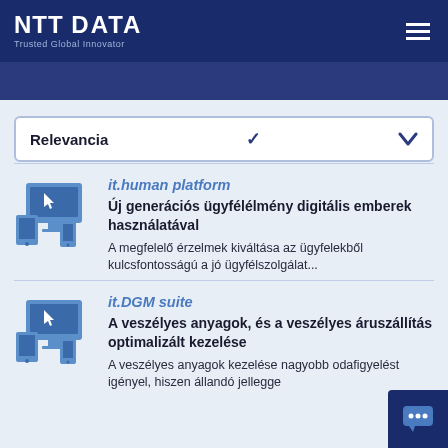[Figure (logo): NTT DATA logo with Trusted Global Innovator tagline on dark blue header bar]
Relevancia
[Figure (illustration): Device icons (desktop monitor, tablet, smartphone) in blue for it.human platform]
it.human platform
Új generációs ügyfélélmény digitális emberek használatával
A megfelelő érzelmek kiváltása az ügyfelekből kulcsfontosságú a jó ügyfélszolgálat...
[Figure (illustration): Device icons (desktop monitor, tablet, smartphone) in blue for it.DGM suite]
it.DGM suite
A veszélyes anyagok, és a veszélyes áruszállítás optimalizált kezelése
A veszélyes anyagok kezelése nagyobb odafigyelést igényel, hiszen állandó jellegge